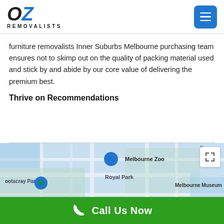OZ REMOVALISTS
furniture removalists Inner Suburbs Melbourne purchasing team ensures not to skimp out on the quality of packing material used and stick by and abide by our core value of delivering the premium best.
Thrive on Recommendations
[Figure (map): Google Maps showing Melbourne area including Footscray Park, Melbourne Zoo, Royal Park, Melbourne Museum locations with blue map pins]
Call Us Now